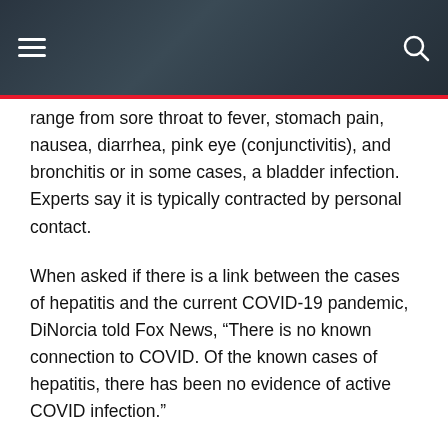Navigation header with hamburger menu and search icon
range from sore throat to fever, stomach pain, nausea, diarrhea, pink eye (conjunctivitis), and bronchitis or in some cases, a bladder infection. Experts say it is typically contracted by personal contact.
When asked if there is a link between the cases of hepatitis and the current COVID-19 pandemic, DiNorcia told Fox News, “There is no known connection to COVID. Of the known cases of hepatitis, there has been no evidence of active COVID infection.”
The liver transplant specialist further explained other potential hypotheses. “Perhaps prior COVID infection made these children more susceptible to hepatitis. Or that the hepatitis is a result of a multi-system inflammatory syndrome in children (MIS-C) that happens after COVID infection.” He also hypothesized, “or maybe sheltering during the pandemic has caused an abnormally robust and irregular immune response to whatever may be causing the